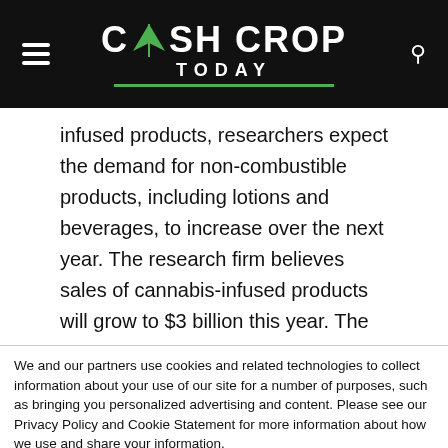Cash Crop Today
infused products, researchers expect the demand for non-combustible products, including lotions and beverages, to increase over the next year. The research firm believes sales of cannabis-infused products will grow to $3 billion this year. The
We and our partners use cookies and related technologies to collect information about your use of our site for a number of purposes, such as bringing you personalized advertising and content. Please see our Privacy Policy and Cookie Statement for more information about how we use and share your information.
California law considers some of this activity to be a sale. California residents can opt-out of sales through the “Do Not Sell My Info” button.
Cookie settings   ACCEPT